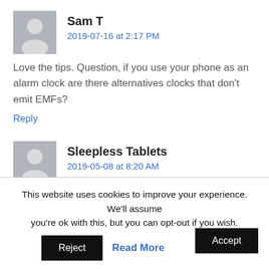Sam T
2019-07-16 at 2:17 PM
Love the tips. Question, if you use your phone as an alarm clock are there alternatives clocks that don't emit EMFs?
Reply
Sleepless Tablets
2019-05-08 at 8:20 AM
This website uses cookies to improve your experience. We'll assume you're ok with this, but you can opt-out if you wish.
Accept
Reject
Read More